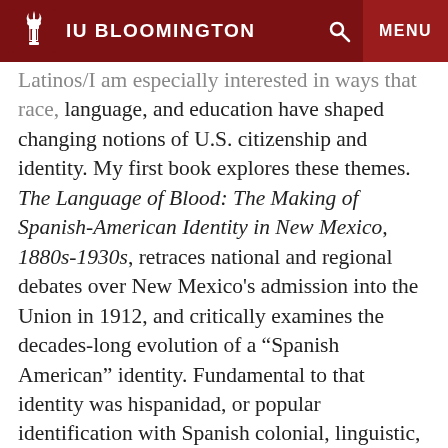IU BLOOMINGTON
Latinos/I am especially interested in ways that race, language, and education have shaped changing notions of U.S. citizenship and identity. My first book explores these themes. The Language of Blood: The Making of Spanish-American Identity in New Mexico, 1880s-1930s, retraces national and regional debates over New Mexico's admission into the Union in 1912, and critically examines the decades-long evolution of a “Spanish American” identity. Fundamental to that identity was hispanidad, or popular identification with Spanish colonial, linguistic, cultural and racial heritage. The Language of Blood led me to examine the parallel struggle for self-government in Puerto Rico. That struggle centered on competing popular perceptions of Puerto Ricans’ racial identity and “fitness” for sovereignty. In Puerto Rico, as in New Mexico, some educators sought to